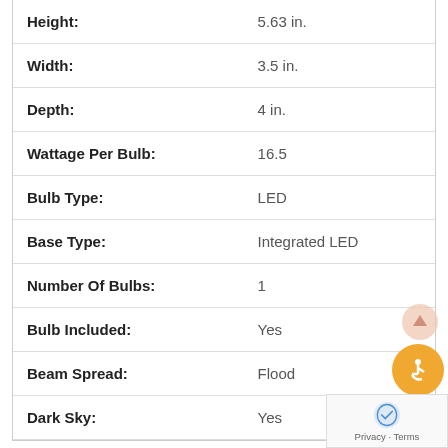| Attribute | Value |
| --- | --- |
| Height: | 5.63 in. |
| Width: | 3.5 in. |
| Depth: | 4 in. |
| Wattage Per Bulb: | 16.5 |
| Bulb Type: | LED |
| Base Type: | Integrated LED |
| Number Of Bulbs: | 1 |
| Bulb Included: | Yes |
| Beam Spread: | Flood |
| Dark Sky: | Yes |
| Attribute | Value |
| --- | --- |
| ADA Compliant: | Yes |
| EnergyStar Compliant: | Yes |